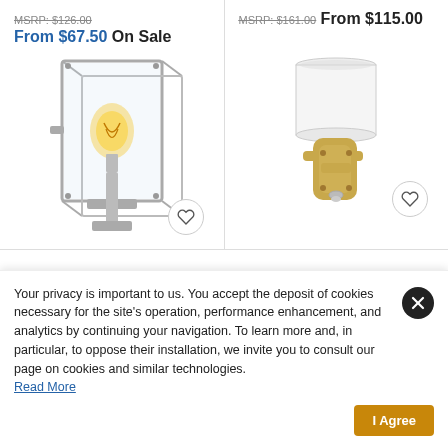MSRP: $126.00
From $67.50 On Sale
MSRP: $161.00
From $115.00
[Figure (photo): Wall lantern sconce with chrome/nickel frame and clear glass panels, Edison bulb visible inside]
[Figure (photo): Wall sconce with gold/brass finish bracket and white cylindrical fabric shade, clear glass rod arm]
Your privacy is important to us. You accept the deposit of cookies necessary for the site's operation, performance enhancement, and analytics by continuing your navigation. To learn more and, in particular, to oppose their installation, we invite you to consult our page on cookies and similar technologies. Read More